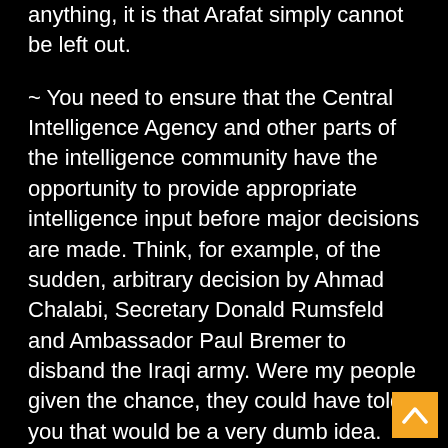anything, it is that Arafat simply cannot be left out.
~ You need to ensure that the Central Intelligence Agency and other parts of the intelligence community have the opportunity to provide appropriate intelligence input before major decisions are made. Think, for example, of the sudden, arbitrary decision by Ahmad Chalabi, Secretary Donald Rumsfeld and Ambassador Paul Bremer to disband the Iraqi army. Were my people given the chance, they could have told you that would be a very dumb idea.
~ Experience — including mine — has shown that it is counterproductive over the long run for the DCI to have advocated for or become associated with any particular policy. I should have known better than to become so closely associated with the "Tenet Plan" for Israel-